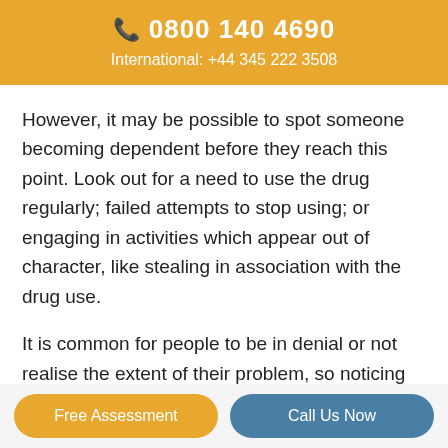📞 0800 140 4690
International: +44 345 222 3508
However, it may be possible to spot someone becoming dependent before they reach this point. Look out for a need to use the drug regularly; failed attempts to stop using; or engaging in activities which appear out of character, like stealing in association with the drug use.
It is common for people to be in denial or not realise the extent of their problem, so noticing
Free Assessment
Call Us Now